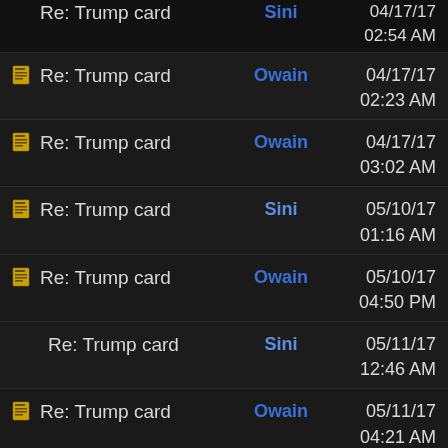Re: Trump card | Sini | 04/17/17 02:54 AM
Re: Trump card | Owain | 04/17/17 02:23 AM
Re: Trump card | Owain | 04/17/17 03:02 AM
Re: Trump card | Sini | 05/10/17 01:16 AM
Re: Trump card | Owain | 05/10/17 04:50 PM
Re: Trump card | Sini | 05/11/17 12:46 AM
Re: Trump card | Owain | 05/11/17 04:21 AM
Re: Trump card | Goriom | 05/11/17 04:12 PM